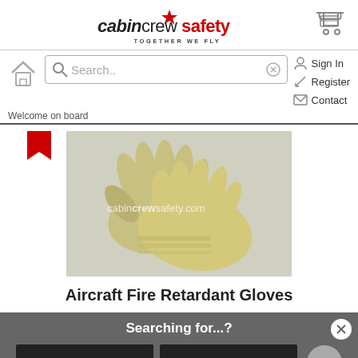[Figure (logo): Cabin Crew Safety logo with red star and tagline TOGETHER WE FLY]
[Figure (other): Shopping cart icon in top right]
[Figure (other): Home icon, search bar with Search.. placeholder and X button, Sign In, Register, Contact nav items]
Welcome on board
[Figure (photo): Pair of cream/beige aircraft fire retardant gloves with watermark cabincrewsafety.com]
Aircraft Fire Retardant Gloves
Searching for...?
training
airworthy